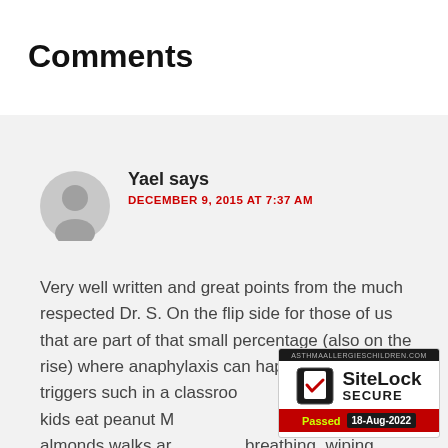Comments
Yael says
DECEMBER 9, 2015 AT 7:37 AM

Very well written and great points from the much respected Dr. S. On the flip side for those of us that are part of that small percentage (also on the rise) where anaphylaxis can happen by airborne triggers such in a classroom a couple kids eat peanut M r eating almonds walks ar breathing, wiping, touching kids, erasers and papers- a Federal Disability Protection Act
[Figure (logo): SiteLock SECURE badge - Passed 18-Aug-2022, asthmaallergieschildren.com]